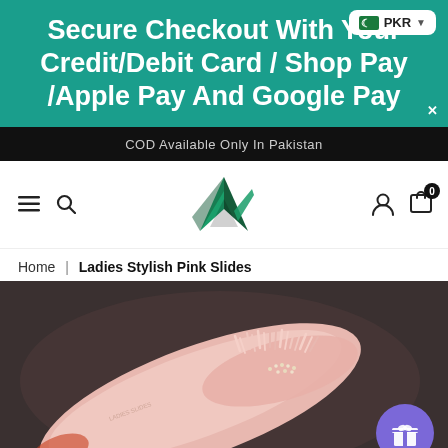Secure Checkout With Your Credit/Debit Card / Shop Pay /Apple Pay And Google Pay
COD Available Only In Pakistan
[Figure (logo): Green and black stylized 'A' letter logo for the store brand]
Home | Ladies Stylish Pink Slides
[Figure (photo): Close-up photo of pink ladies slide sandals with fluffy fur and rhinestone bow decoration on a dark background]